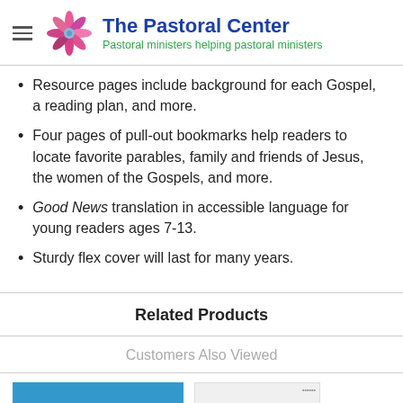The Pastoral Center — Pastoral ministers helping pastoral ministers
Resource pages include background for each Gospel, a reading plan, and more.
Four pages of pull-out bookmarks help readers to locate favorite parables, family and friends of Jesus, the women of the Gospels, and more.
Good News translation in accessible language for young readers ages 7-13.
Sturdy flex cover will last for many years.
Related Products
Customers Also Viewed
[Figure (photo): Two product thumbnail images shown side by side: a blue-covered book/product on the left and a white-covered product on the right.]